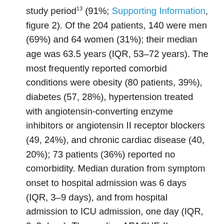study period¹³ (91%; Supporting Information, figure 2). Of the 204 patients, 140 were men (69%) and 64 women (31%); their median age was 63.5 years (IQR, 53–72 years). The most frequently reported comorbid conditions were obesity (80 patients, 39%), diabetes (57, 28%), hypertension treated with angiotensin-converting enzyme inhibitors or angiotensin II receptor blockers (49, 24%), and chronic cardiac disease (40, 20%); 73 patients (36%) reported no comorbidity. Median duration from symptom onset to hospital admission was 6 days (IQR, 3–9 days), and from hospital admission to ICU admission, one day (IQR, 0–3 days). The median APACHE-II score on ICU day 1 (available for 195 patients) was 14 (IQR, 10–18); the median SOFA score (available for 98 patients) was 6 (IQR, 4–10). Infection was acquired during international travel by 114 patients (56%), including 55 cruise ship passengers (27%). Close contact